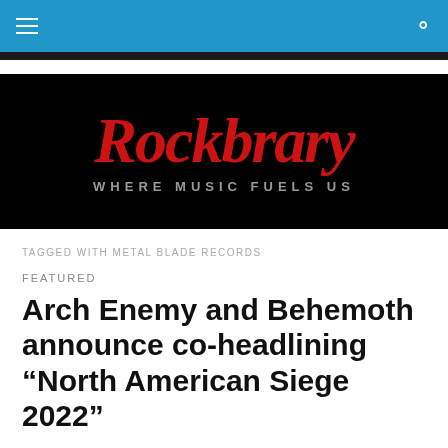Navigation bar with hamburger menu and search icon
[Figure (logo): Rockbray logo — gothic red text reading 'Rockbrary' on black background with tagline 'WHERE MUSIC FUELS US' in grey capitals]
TAGGED WITH METAL BLADE RECORDS
FEATURED
Arch Enemy and Behemoth announce co-headlining “North American Siege 2022”